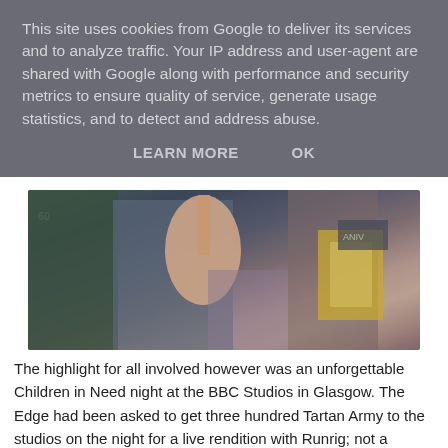This site uses cookies from Google to deliver its services and to analyze traffic. Your IP address and user-agent are shared with Google along with performance and security metrics to ensure quality of service, generate usage statistics, and to detect and address abuse.
LEARN MORE    OK
[Figure (photo): Partially visible concert or event photo showing people with a guitar visible, cropped at top, with colorful elements in the background.]
The highlight for all involved however was an unforgettable Children in Need night at the BBC Studios in Glasgow. The Edge had been asked to get three hundred Tartan Army to the studios on the night for a live rendition with Runrig; not a problem given that it was the evening before Scotland's biggest Hampden occasion in years and if you were one of that group it will live long in the memory from the march along the Clyde from the Renfrew Ferry into the studios and the most amazing piece of live television which even now raises hairs on the back of the neck watching  it.